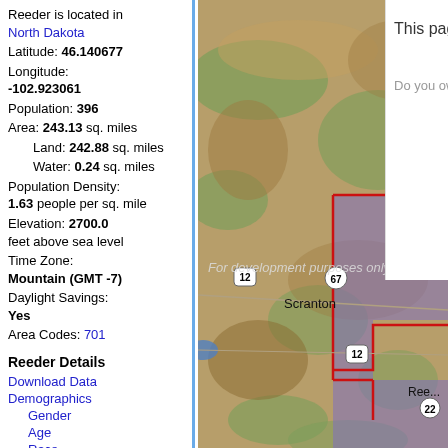Reeder is located in North Dakota
Latitude: 46.140677
Longitude: -102.923061
Population: 396
Area: 243.13 sq. miles
Land: 242.88 sq. miles
Water: 0.24 sq. miles
Population Density: 1.63 people per sq. mile
Elevation: 2700.0 feet above sea level
Time Zone: Mountain (GMT -7)
Daylight Savings: Yes
Area Codes: 701
Reeder Details
Download Data
Demographics
Gender
Age
Race
Social Profile
School Enrollment
Education Level
[Figure (map): Map showing the Reeder, North Dakota area with terrain and highlighted region boundary in red/purple overlay. Shows Scranton label, highway markers 12, 67, 22.]